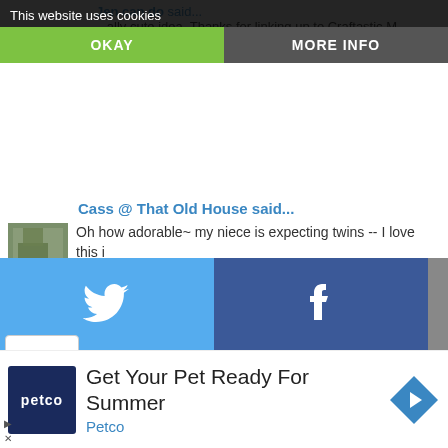This website uses cookies
OKAY
MORE INFO
...ally cute idea. Thanks for linking up to Craftastic M...
April 26, 2010 at 10:21 PM
Cass @ That Old House said...
Oh how adorable~ my niece is expecting twins -- I love this i... Cass
April 27, 2010 at 5:02 PM
Anonymous said...
Very clever and cute!
April 27, 2010 at 5:55 PM
[Figure (screenshot): Social share bar with Twitter (blue) and Facebook (dark blue) icons]
[Figure (infographic): Petco advertisement: Get Your Pet Ready For Summer]